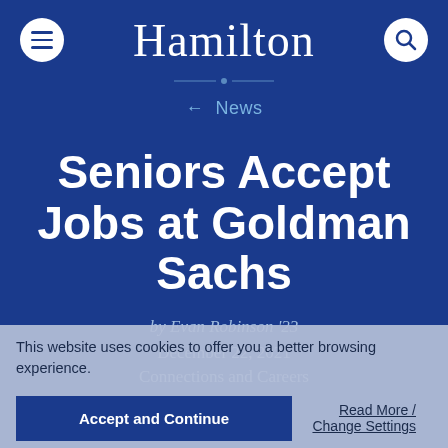Hamilton
← News
Seniors Accept Jobs at Goldman Sachs
by Evan Robinson '23
December 22, 2021
Connections and Careers
This website uses cookies to offer you a better browsing experience.
Accept and Continue
Read More / Change Settings